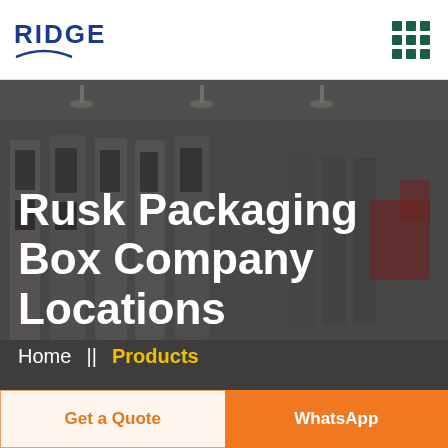RIDGE
[Figure (photo): Factory interior showing rows of industrial packaging machines with control panels, dimly lit, used as hero background image]
Rusk Packaging Box Company Locations
Home || Products